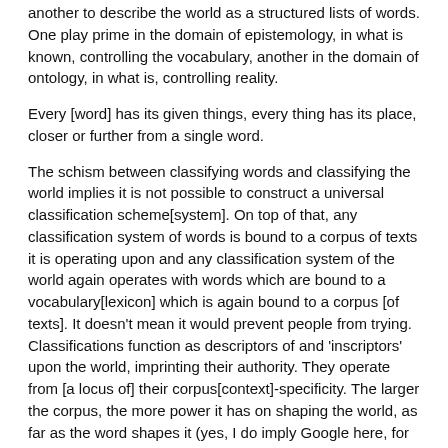another to describe the world as a structured lists of words. One play prime in the domain of epistemology, in what is known, controlling the vocabulary, another in the domain of ontology, in what is, controlling reality.
Every [word] has its given things, every thing has its place, closer or further from a single word.
The schism between classifying words and classifying the world implies it is not possible to construct a universal classification scheme[system]. On top of that, any classification system of words is bound to a corpus of texts it is operating upon and any classification system of the world again operates with words which are bound to a vocabulary[lexicon] which is again bound to a corpus [of texts]. It doesn’t mean it would prevent people from trying. Classifications function as descriptors of and ‘inscriptors’ upon the world, imprinting their authority. They operate from [a locus of] their corpus[context]-specificity. The larger the corpus, the more power it has on shaping the world, as far as the word shapes it (yes, I do imply Google here, for which it is a domain to be potentially exploited).